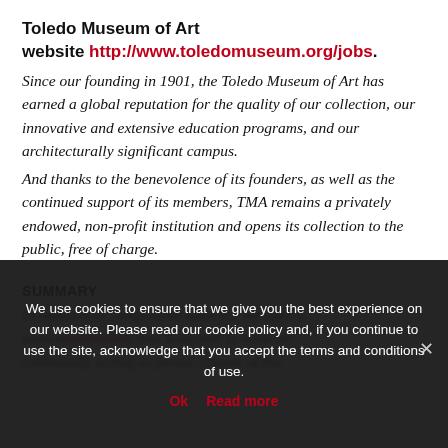Toledo Museum of Art website http://www.toledomuseum.org/jobs.
Since our founding in 1901, the Toledo Museum of Art has earned a global reputation for the quality of our collection, our innovative and extensive education programs, and our architecturally significant campus.
And thanks to the benevolence of its founders, as well as the continued support of its members, TMA remains a privately endowed, non-profit institution and opens its collection to the public, free of charge.
SUMMARY
We use cookies to ensure that we give you the best experience on our website. Please read our cookie policy and, if you continue to use the site, acknowledge that you accept the terms and conditions of use.